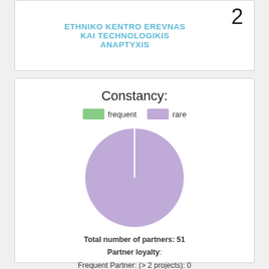ETHNIKO KENTRO EREVNAS KAI TECHNOLOGIKIS ANAPTYXIS
2
Constancy:
[Figure (pie-chart): Constancy:]
Total number of partners: 51
Partner loyalty:
Frequent Partner: (> 2 projects): 0
Rare Partner: 51
Frequent / Rare Partner Ratio: 0